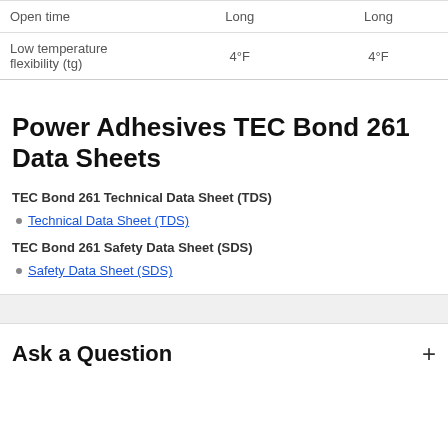|  |  |  |
| --- | --- | --- |
| Open time | Long | Long |
| Low temperature flexibility (tg) | 4°F | 4°F |
Power Adhesives TEC Bond 261 Data Sheets
TEC Bond 261 Technical Data Sheet (TDS)
Technical Data Sheet (TDS)
TEC Bond 261 Safety Data Sheet (SDS)
Safety Data Sheet (SDS)
Ask a Question